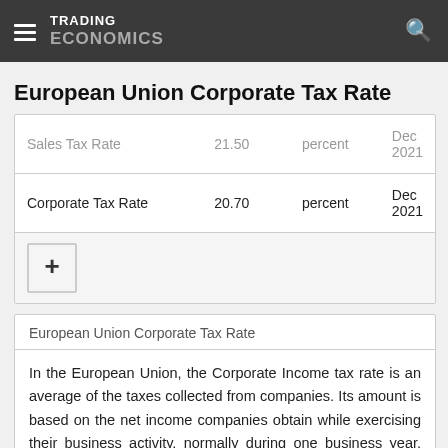TRADING ECONOMICS
European Union Corporate Tax Rate
|  |  |  |
| --- | --- | --- |
| Sales Tax Rate | 21.50 | percent | Dec 2021 |
| Corporate Tax Rate | 20.70 | percent | Dec 2021 |
| + |  |  |  |
European Union Corporate Tax Rate
In the European Union, the Corporate Income tax rate is an average of the taxes collected from companies. Its amount is based on the net income companies obtain while exercising their business activity, normally during one business year. The benchmark we use refers to the highest rate for Corporate Income.